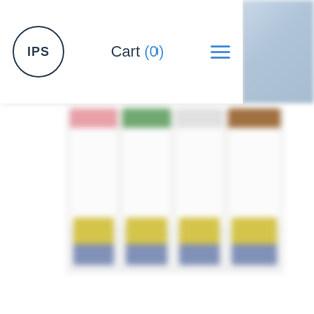[Figure (screenshot): Website navigation bar with IPS logo (circle with IPS text), Cart (0) link in dark text with blue (0), and a blue hamburger menu icon on the right. White background with a partial blurred product image visible in top-right corner.]
[Figure (photo): Blurred row of four pharmaceutical vials/bottles with colored caps (pink, green, colorless, brown) and yellow/blue banded labels on white/clear glass containers, partially cropped on left and right edges.]